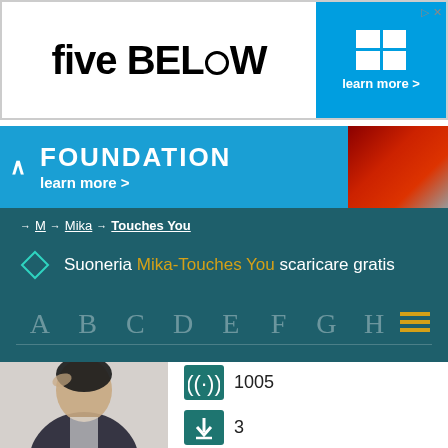[Figure (screenshot): Five Below advertisement banner with blue blocks and learn more button]
[Figure (screenshot): FOUNDATION learn more advertisement banner with red fabric image]
→ M → Mika → Touches You
Suoneria Mika-Touches You scaricare gratis
A B C D E F G H ☰
[Figure (photo): Photo of Mika artist in dark jacket]
1005
3